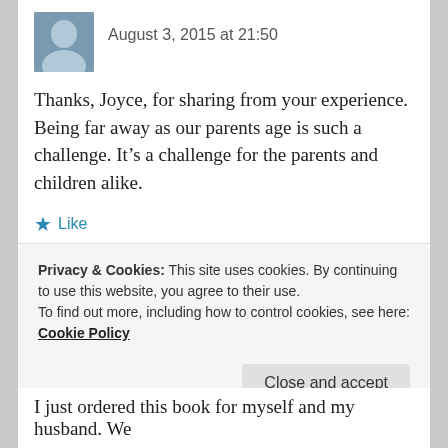August 3, 2015 at 21:50
Thanks, Joyce, for sharing from your experience. Being far away as our parents age is such a challenge. It’s a challenge for the parents and children alike.
★ Like
↪ Reply
[Figure (other): Red advertisement banner]
REPORT THIS AD
Privacy & Cookies: This site uses cookies. By continuing to use this website, you agree to their use.
To find out more, including how to control cookies, see here: Cookie Policy
Close and accept
I just ordered this book for myself and my husband. We